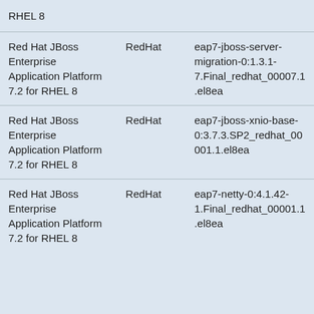| RHEL 8 |  |  |
| Red Hat JBoss Enterprise Application Platform 7.2 for RHEL 8 | RedHat | eap7-jboss-server-migration-0:1.3.1-7.Final_redhat_00007.1.el8ea |
| Red Hat JBoss Enterprise Application Platform 7.2 for RHEL 8 | RedHat | eap7-jboss-xnio-base-0:3.7.3.SP2_redhat_00001.1.el8ea |
| Red Hat JBoss Enterprise Application Platform 7.2 for RHEL 8 | RedHat | eap7-netty-0:4.1.42-1.Final_redhat_00001.1.el8ea |